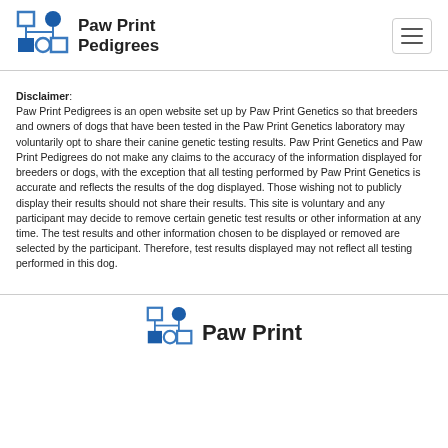Paw Print Pedigrees
Disclaimer: Paw Print Pedigrees is an open website set up by Paw Print Genetics so that breeders and owners of dogs that have been tested in the Paw Print Genetics laboratory may voluntarily opt to share their canine genetic testing results. Paw Print Genetics and Paw Print Pedigrees do not make any claims to the accuracy of the information displayed for breeders or dogs, with the exception that all testing performed by Paw Print Genetics is accurate and reflects the results of the dog displayed. Those wishing not to publicly display their results should not share their results. This site is voluntary and any participant may decide to remove certain genetic test results or other information at any time. The test results and other information chosen to be displayed or removed are selected by the participant. Therefore, test results displayed may not reflect all testing performed in this dog.
Paw Print